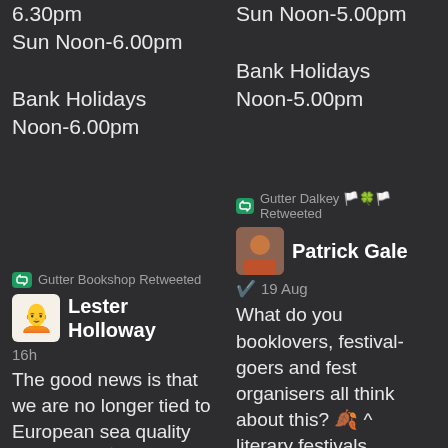6.30pm
Sun Noon-6.00pm

Bank Holidays
Noon-6.00pm
Sun Noon-5.00pm

Bank Holidays
Noon-5.00pm
Gutter Bookshop Retweeted
Lester Holloway
16h
The good news is that we are no longer tied to European sea quality standards 💩 https://t.co/ZUHxIZicS
Gutter Dalkey 🇬🇧🍀🇸🇪 Retweeted
Patrick Gale
19 Aug
What do you booklovers, festival-goers and fest organisers all think about this? 🍂^ literary festivals doomed?Why book